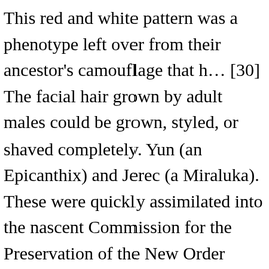This red and white pattern was a phenotype left over from their ancestor's camouflage that h… [30] The facial hair grown by adult males could be grown, styled, or shaved completely. Yun (an Epicanthix) and Jerec (a Miraluka). These were quickly assimilated into the nascent Commission for the Preservation of the New Order (COMPNOR).[4]. The Venator-class Star Destroyer used by the Republic during the Clone Wars? [15] Such offshoots included the shapechanging Stennes Shifters,[16] the scaly-